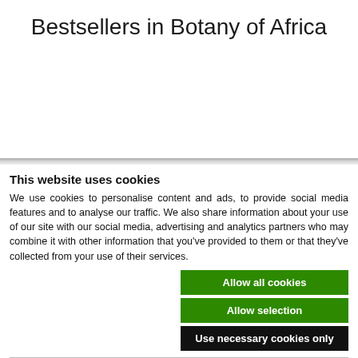Bestsellers in Botany of Africa
This website uses cookies
We use cookies to personalise content and ads, to provide social media features and to analyse our traffic. We also share information about your use of our site with our social media, advertising and analytics partners who may combine it with other information that you've provided to them or that they've collected from your use of their services.
Allow all cookies
Allow selection
Use necessary cookies only
Necessary  Preferences  Statistics  Marketing  Show details